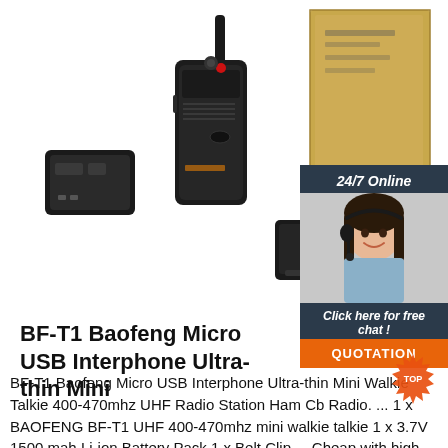[Figure (photo): Product photo showing BF-T1 Baofeng walkie talkie radio set with components: battery pack, antenna, main unit, belt clip, and cardboard box packaging, on white background]
[Figure (photo): 24/7 Online chat widget showing a woman with headset smiling, with 'Click here for free chat!' text and orange QUOTATION button]
BF-T1 Baofeng Micro USB Interphone Ultra-thin Mini
BF-T1 Baofeng Micro USB Interphone Ultra-thin Mini Walkie Talkie 400-470mhz UHF Radio Station Ham Cb Radio. ... 1 x BAOFENG BF-T1 UHF 400-470mhz mini walkie talkie 1 x 3.7V 1500 mah Li-ion Battery Pack 1 x Belt Clip ... Cheap with high quality,radio Comunicador. Li-ion Battery: 1500mAH Battery, dual